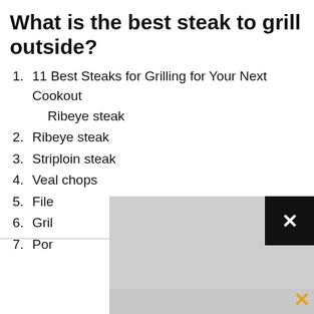What is the best steak to grill outside?
1. 11 Best Steaks for Grilling for Your Next Cookout
   Ribeye steak
2. Ribeye steak
3. Striploin steak
4. Veal chops
5. File…
6. Gri…
7. Por… is tender and…
[Figure (screenshot): Gray overlay popup with a black close button (X) in the top right corner, partially obscuring list items 5-7. An orange X button appears in the bottom right corner of the screen.]